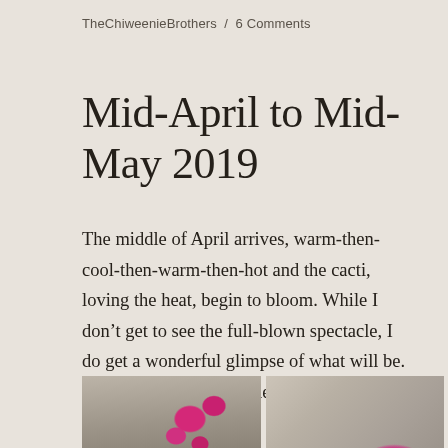TheChiweenieBrothers / 6 Comments
Mid-April to Mid-May 2019
The middle of April arrives, warm-then-cool-then-warm-then-hot and the cacti, loving the heat, begin to bloom. While I don't get to see the full-blown spectacle, I do get a wonderful glimpse of what will be. It is breathtaking, and the brittle bush is still showing off, too.
[Figure (photo): Two side-by-side photos of cacti in bloom. Left photo shows cactus pads with bright pink-magenta flowers blooming on top against a rocky background. Right photo shows a close-up of a single vibrant pink-magenta cactus flower with yellow stamens against rocky ground.]